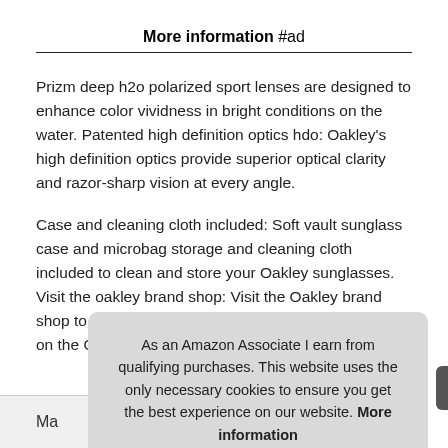More information #ad
Prizm deep h2o polarized sport lenses are designed to enhance color vividness in bright conditions on the water. Patented high definition optics hdo: Oakley's high definition optics provide superior optical clarity and razor-sharp vision at every angle.
Case and cleaning cloth included: Soft vault sunglass case and microbag storage and cleaning cloth included to clean and store your Oakley sunglasses. Visit the oakley brand shop: Visit the Oakley brand shop to shop the entire Oakley assortment by clicking on the Oakley logo above.
As an Amazon Associate I earn from qualifying purchases. This website uses the only necessary cookies to ensure you get the best experience on our website. More information